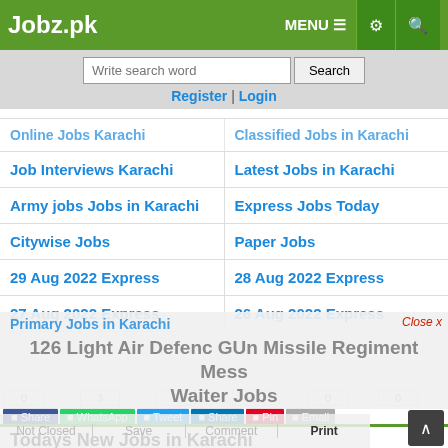Jobz.pk
Write search word | Search
Register | Login
Online Jobs Karachi
Classified Jobs in Karachi
Job Interviews Karachi
Latest Jobs in Karachi
Army jobs Jobs in Karachi
Express Jobs Today
Citywise Jobs
Paper Jobs
29 Aug 2022 Express
28 Aug 2022 Express
27 Aug 2022 Express
26 Aug 2022 Express
Primary Jobs in Karachi
126 Light Air Defenc GUn Missile Regiment Mess Waiter Jobs
0  3  2  4  0  0
Share  WhatsApp  Tweet  Share  Pin  Email
Todays New Jobs in Karachi
Jang Sunday Classified Ads 28 August 2022 for Educational
Jang Sunday Classified Ads 28 August 2022 for Computer Staff
Jang Sunday Classified Ads 28 August 2022 for
Zarai Taraqiati Bank Limited Jobs 2022
Jang Sunday Classified Ads 28 August 2022 for Teaching Staff